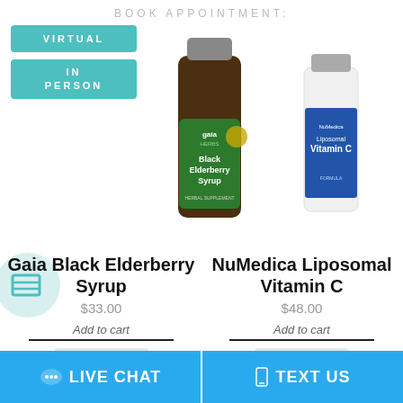BOOK APPOINTMENT:
VIRTUAL
IN PERSON
[Figure (photo): Gaia Herbs Black Elderberry Syrup bottle, dark glass with green label]
[Figure (photo): NuMedica Liposomal Vitamin C white bottle with blue label]
Gaia Black Elderberry Syrup
$33.00
Add to cart
Quick View
NuMedica Liposomal Vitamin C
$48.00
Add to cart
Quick View
LIVE CHAT
TEXT US